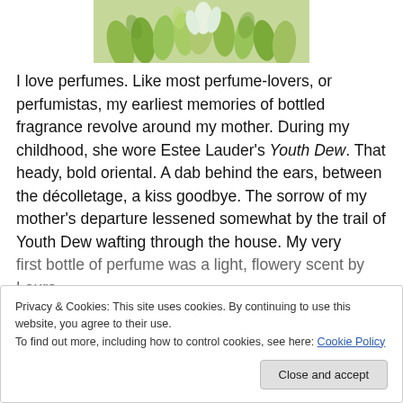[Figure (photo): Close-up photo of green flower buds or vegetables, artichoke-like, light green and white tones]
I love perfumes. Like most perfume-lovers, or perfumistas, my earliest memories of bottled fragrance revolve around my mother. During my childhood, she wore Estee Lauder's Youth Dew. That heady, bold oriental. A dab behind the ears, between the décolletage, a kiss goodbye. The sorrow of my mother's departure lessened somewhat by the trail of Youth Dew wafting through the house. My very first bottle of perfume was a light, flowery scent by Laura
Privacy & Cookies: This site uses cookies. By continuing to use this website, you agree to their use.
To find out more, including how to control cookies, see here: Cookie Policy